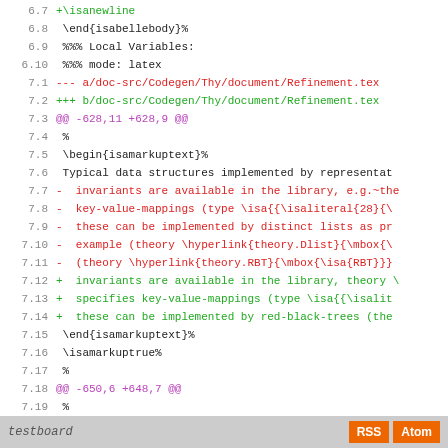[Figure (screenshot): Diff/patch view of a LaTeX source file (Refinement.tex) showing line numbers, removed lines in red, added lines in green, context lines in black, and diff headers in purple. Lines 6.7-7.25 are shown.]
testboard   RSS  Atom